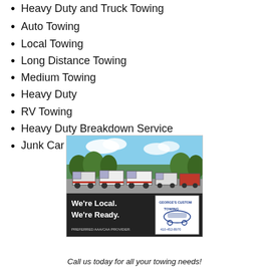Heavy Duty and Truck Towing
Auto Towing
Local Towing
Long Distance Towing
Medium Towing
Heavy Duty
RV Towing
Heavy Duty Breakdown Service
Junk Car Removal
[Figure (photo): Photo of multiple tow trucks parked in a lot with blue sky and trees in background. Bottom portion shows text 'We're Local. We're Ready. PREFERRED AAA/CAA PROVIDER.' and a George's Custom Towing logo with phone number 410-452-8970.]
Call us today for all your towing needs!